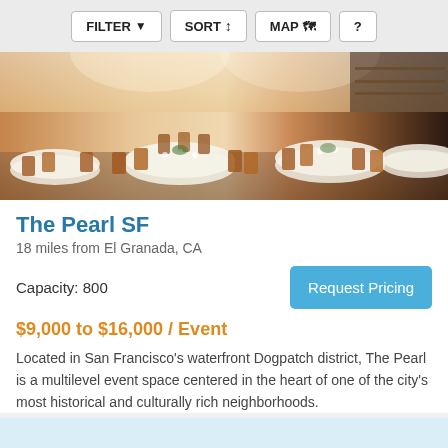FILTER  SORT  MAP  ?
[Figure (photo): Interior photo of The Pearl SF event venue showing round tables set for a banquet with copper/bronze chairs, white tablecloths, and warm ambient lighting]
The Pearl SF
18 miles from El Granada, CA
Capacity: 800
Request Pricing
$9,000 to $16,000 / Event
Located in San Francisco’s waterfront Dogpatch district, The Pearl is a multilevel event space centered in the heart of one of the city’s most historical and culturally rich neighborhoods.
Conference/Meeting (+1)